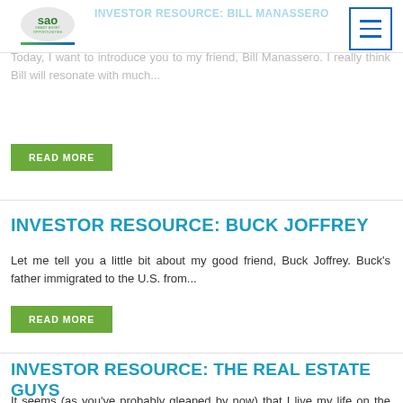INVESTOR RESOURCE: BILL MANASSERO
Today, I want to introduce you to my friend, Bill Manassero. I really think Bill will resonate with much...
READ MORE
INVESTOR RESOURCE: BUCK JOFFREY
Let me tell you a little bit about my good friend, Buck Joffrey. Buck's father immigrated to the U.S. from...
READ MORE
INVESTOR RESOURCE: THE REAL ESTATE GUYS
It seems (as you've probably gleaned by now) that I live my life on the road. This past week, I...
READ MORE